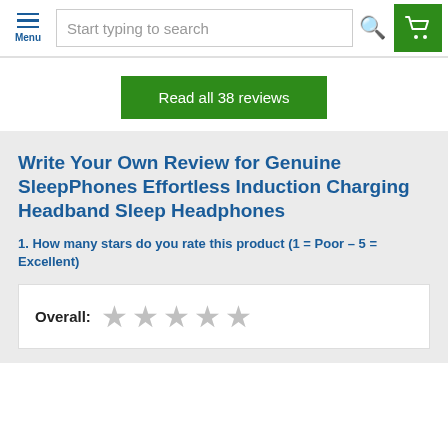Menu | Start typing to search
Read all 38 reviews
Write Your Own Review for Genuine SleepPhones Effortless Induction Charging Headband Sleep Headphones
1. How many stars do you rate this product (1 = Poor – 5 = Excellent)
Overall: ☆ ☆ ☆ ☆ ☆